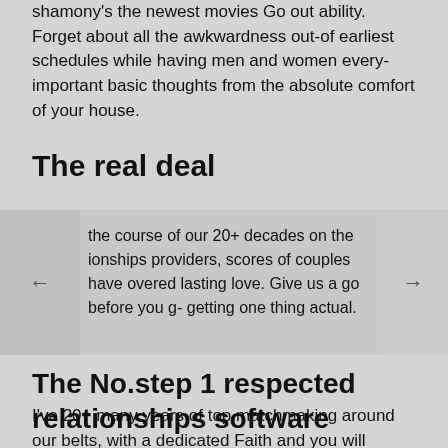shamony's the newest movies Go out ability. Forget about all the awkwardness out-of earliest schedules while having men and women every-important basic thoughts from the absolute comfort of your house.
The real deal
the course of our 20+ decades on the ionships providers, scores of couples have overed lasting love. Give us a go before you g- getting one thing actual.
The No.step 1 respected relationships software
I've 20+ many years of top matchmaking around our belts, with a dedicated Faith and you will